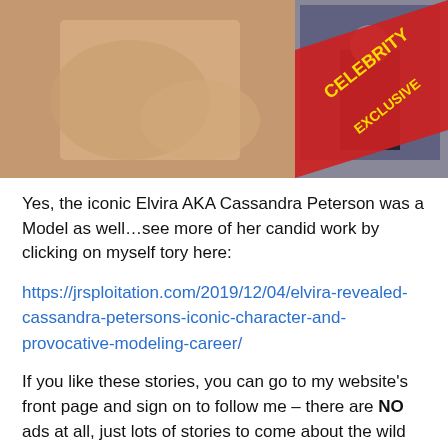[Figure (photo): Partial view of a person's hands/torso on the left side, and on the right a smaller inset image of a person in dark clothing with a red diagonal banner reading 'CELEBRITY EXCLUSIVE' in yellow text.]
Yes, the iconic Elvira AKA Cassandra Peterson was a Model as well…see more of her candid work by clicking on myself tory here:
https://jrsploitation.com/2019/12/04/elvira-revealed-cassandra-petersons-iconic-character-and-provocative-modeling-career/
If you like these stories, you can go to my website's front page and sign on to follow me – there are NO ads at all, just lots of stories to come about the wild world of exploitation and cult films!
Click here and see the "follow" button on the upper right!